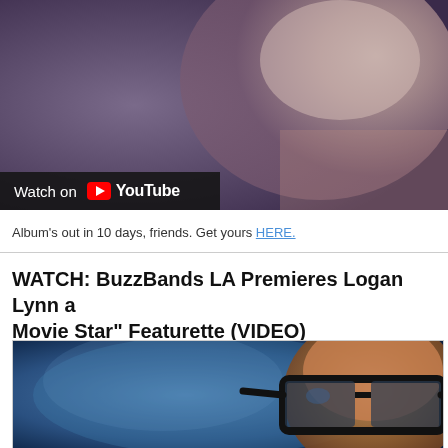[Figure (screenshot): YouTube video thumbnail showing a blurred face with purple/pink tones and a 'Watch on YouTube' overlay button at the bottom left]
Album's out in 10 days, friends. Get yours HERE.
WATCH: BuzzBands LA Premieres Logan Lynn a Movie Star" Featurette (VIDEO)
[Figure (screenshot): Video thumbnail showing a person wearing large dark-framed glasses against a blue background, cropped close to the face]